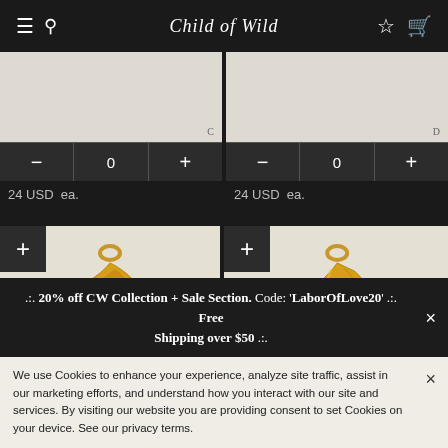Child of Wild
C
— 0 +
24 USD ea.
D
— 0 +
24 USD ea.
[Figure (photo): Gold old-english letter C charm pendant on beige background with + add button]
[Figure (photo): Gold old-english letter F charm pendant on beige background with + add button]
.:. 20% off CW Collection + Sale Section. Code: 'LaborOfLove20' .:. Free Shipping over $50 .:.
We use Cookies to enhance your experience, analyze site traffic, assist in our marketing efforts, and understand how you interact with our site and services. By visiting our website you are providing consent to set Cookies on your device. See our privacy terms.